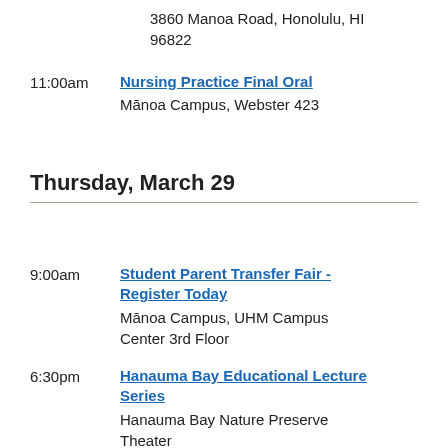3860 Manoa Road, Honolulu, HI 96822
11:00am — Nursing Practice Final Oral
Mānoa Campus, Webster 423
Thursday, March 29
9:00am — Student Parent Transfer Fair - Register Today
Mānoa Campus, UHM Campus Center 3rd Floor
6:30pm — Hanauma Bay Educational Lecture Series
Hanauma Bay Nature Preserve Theater